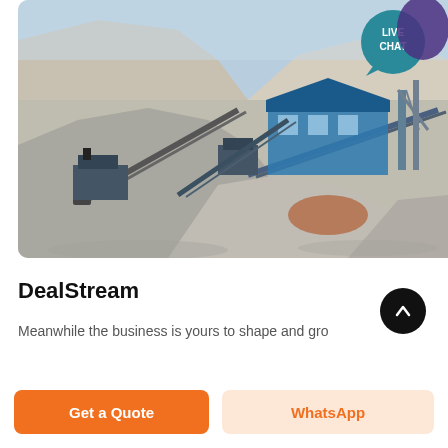[Figure (photo): Industrial quarry/mining facility with conveyor belts, large piles of crushed stone/gravel, and industrial equipment including a blue warehouse structure, set against a hazy sky. A 'LIVE CHAT' speech-bubble badge overlays the top-right corner of the image.]
DealStream
Meanwhile the business is yours to shape and grow